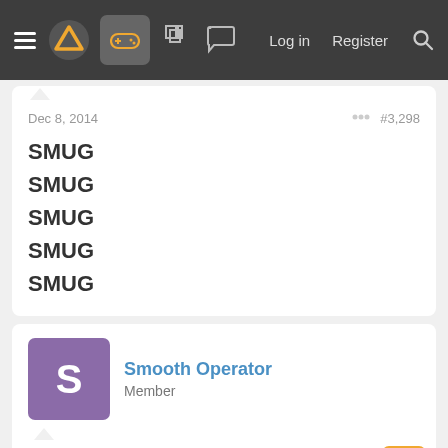Navigation bar with hamburger menu, logo, controller icon, forum icons, Log in, Register, Search
Dec 8, 2014   #3,298
SMUG
SMUG
SMUG
SMUG
SMUG
Smooth Operator
Member
Dec 8, 2014   #3,299
WORLD STAR